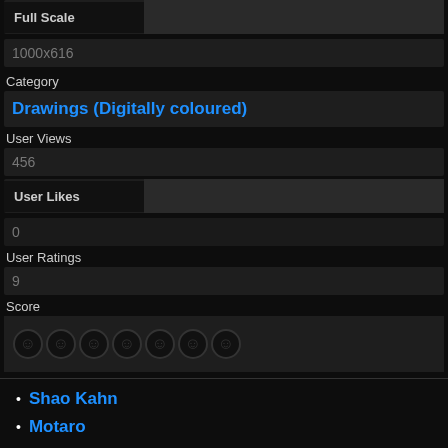Full Scale
1000x616
Category
Drawings (Digitally coloured)
User Views
456
User Likes
0
User Ratings
9
Score
[Figure (other): Score rating displayed as circular star/smiley icons (7 circles shown)]
Shao Kahn
Motaro
Liu Kang